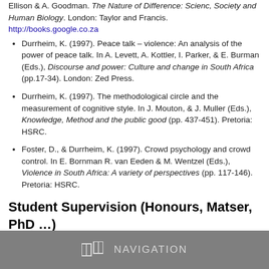Ellison & A. Goodman. The Nature of Difference: Scienc, Society and Human Biology. London: Taylor and Francis. http://books.google.co.za
Durrheim, K. (1997). Peace talk – violence: An analysis of the power of peace talk. In A. Levett, A. Kottler, I. Parker, & E. Burman (Eds.), Discourse and power: Culture and change in South Africa (pp.17-34). London: Zed Press.
Durrheim, K. (1997). The methodological circle and the measurement of cognitive style. In J. Mouton, & J. Muller (Eds.), Knowledge, Method and the public good (pp. 437-451). Pretoria: HSRC.
Foster, D., & Durrheim, K. (1997). Crowd psychology and crowd control. In E. Bornman R. van Eeden & M. Wentzel (Eds.), Violence in South Africa: A variety of perspectives (pp. 117-146). Pretoria: HSRC.
Student Supervision (Honours, Matser, PhD …)
NAVIGATION